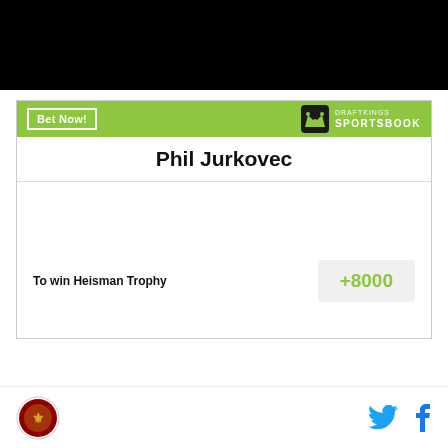[Figure (photo): Black image/video placeholder bar at top of page]
[Figure (infographic): DraftKings Sportsbook betting widget showing Phil Jurkovec To win Heisman Trophy at +8000 odds]
[Figure (logo): Site logo (red/gold circular emblem) in page footer, with Twitter and Facebook social icons on the right]